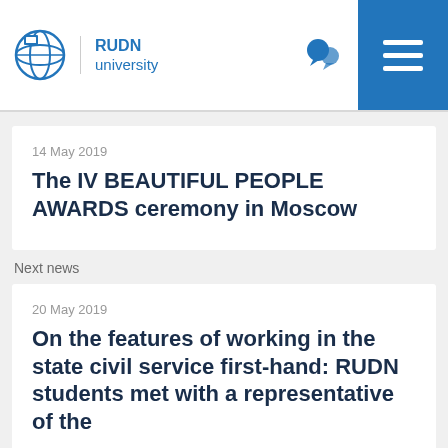RUDN university
14 May 2019
The IV BEAUTIFUL PEOPLE AWARDS ceremony in Moscow
Next news
20 May 2019
On the features of working in the state civil service first-hand: RUDN students met with a representative of the Ministry of Labour and Social Protection